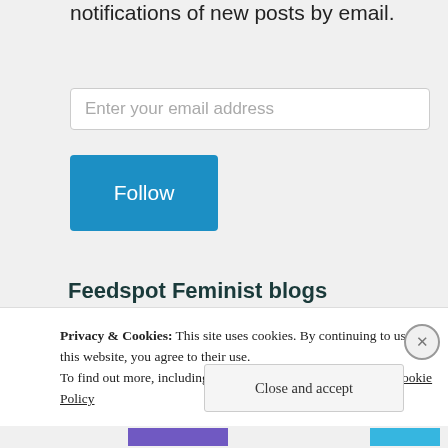notifications of new posts by email.
Enter your email address
Follow
Feedspot Feminist blogs
[Figure (illustration): A red and gold medal ribbon shaped like a V, with a gold circular medal disc at the bottom.]
Privacy & Cookies: This site uses cookies. By continuing to use this website, you agree to their use. To find out more, including how to control cookies, see here: Cookie Policy
Close and accept